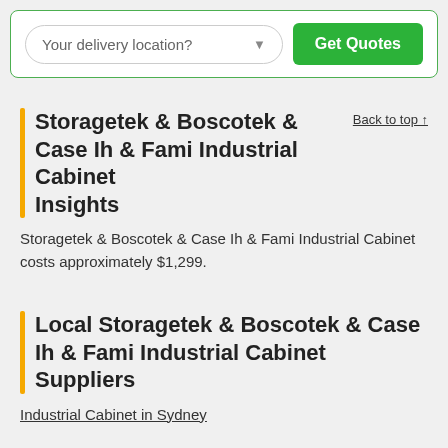[Figure (screenshot): Location dropdown input with placeholder 'Your delivery location?' and a green 'Get Quotes' button]
Storagetek & Boscotek & Case Ih & Fami Industrial Cabinet Insights
Back to top ↑
Storagetek & Boscotek & Case Ih & Fami Industrial Cabinet costs approximately $1,299.
Local Storagetek & Boscotek & Case Ih & Fami Industrial Cabinet Suppliers
Industrial Cabinet in Sydney